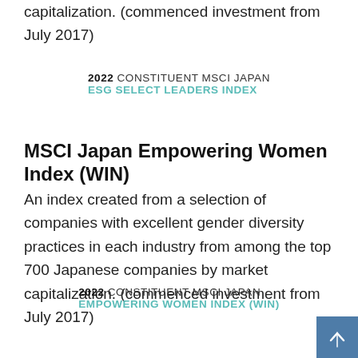capitalization. (commenced investment from July 2017)
[Figure (other): 2022 CONSTITUENT MSCI JAPAN ESG SELECT LEADERS INDEX badge]
MSCI Japan Empowering Women Index (WIN)
An index created from a selection of companies with excellent gender diversity practices in each industry from among the top 700 Japanese companies by market capitalization. (commenced investment from July 2017)
[Figure (other): 2022 CONSTITUENT MSCI JAPAN EMPOWERING WOMEN INDEX (WIN) badge]
[Figure (other): Back to top button (blue arrow)]